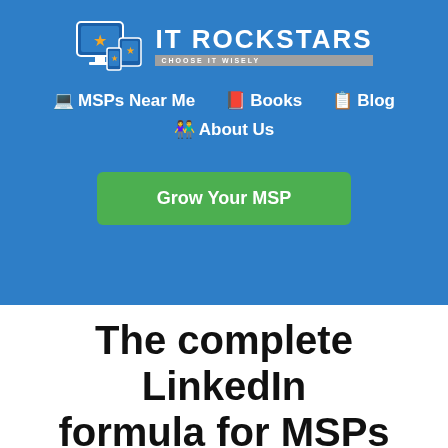[Figure (logo): IT Rockstars logo with monitor icon and tagline 'CHOOSE IT WISELY']
💻 MSPs Near Me   📕 Books   📋 Blog   👫 About Us
Grow Your MSP
The complete LinkedIn formula for MSPs
By Scott Millar • Updated: 10/18/19 • 9 min read
It's no secret finding new customers for your IT